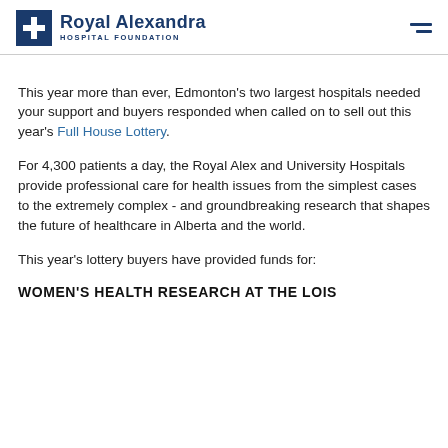Royal Alexandra Hospital Foundation
This year more than ever, Edmonton's two largest hospitals needed your support and buyers responded when called on to sell out this year's Full House Lottery.
For 4,300 patients a day, the Royal Alex and University Hospitals provide professional care for health issues from the simplest cases to the extremely complex - and groundbreaking research that shapes the future of healthcare in Alberta and the world.
This year's lottery buyers have provided funds for:
WOMEN'S HEALTH RESEARCH AT THE LOIS